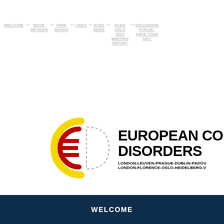WELCOME >> BOOK REVIEWS >> FREE BOOKS >> LINKS >> ECED NEWS >> ECED OSLO 2013 MEETING REPORT >> DISCUSSION FORUM - HAVE YOUR SAY!
[Figure (logo): ECED logo — yellow C shape, red E shape, and dashed D shape forming an ECD monogram]
EUROPEAN COUNCIL ON EATING DISORDERS
LONDON-LEUVEN-PRAGUE-DUBLIN-PADOVA-LONDON-FLORENCE-OSLO-HEIDELBERG-V...
WELCOME